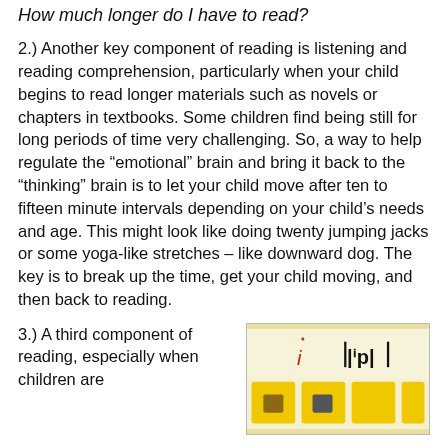How much longer do I have to read?
2.) Another key component of reading is listening and reading comprehension, particularly when your child begins to read longer materials such as novels or chapters in textbooks. Some children find being still for long periods of time very challenging. So, a way to help regulate the “emotional” brain and bring it back to the “thinking” brain is to let your child move after ten to fifteen minute intervals depending on your child’s needs and age. This might look like doing twenty jumping jacks or some yoga-like stretches – like downward dog. The key is to break up the time, get your child moving, and then back to reading.
3.) A third component of reading, especially when children are
[Figure (photo): A photo of handwritten or printed phonics/reading educational material on yellow and white paper, showing letters and phonetic symbols including 'i', '|ip|' in red and black marker.]